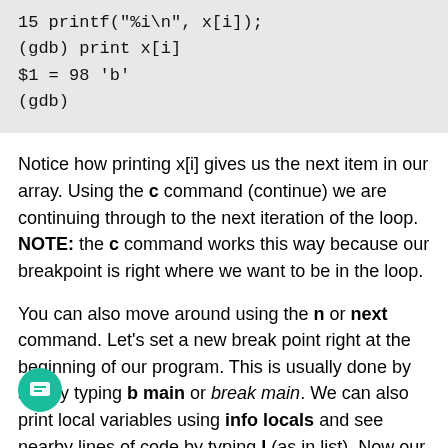[Figure (screenshot): Code block showing GDB debugger session with printf and print x[i] commands]
Notice how printing x[i] gives us the next item in our array. Using the c command (continue) we are continuing through to the next iteration of the loop. NOTE: the c command works this way because our breakpoint is right where we want to be in the loop.
You can also move around using the n or next command. Let's set a new break point right at the beginning of our program. This is usually done by simply typing b main or break main. We can also print local variables using info locals and see nearby lines of code by typing l (as in list). Now our program starts on line 6. Let's go through